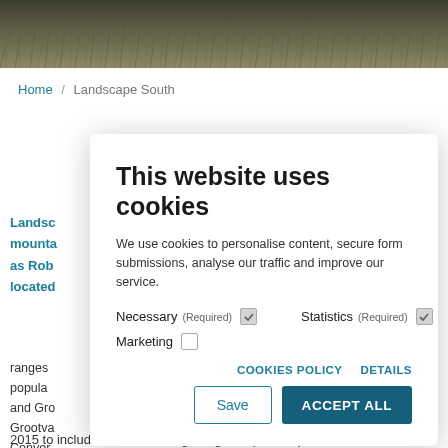[Figure (photo): Landscape photo of dry grass/vegetation at the top of the page]
Home / Landscape South
Landscape South mountain ranges such as Robertson located ranges popular and Grootvlei Grootvadersbosch Conservation Area and
This website uses cookies
We use cookies to personalise content, secure form submissions, analyse our traffic and improve our service.
Necessary (Required) [checked] Statistics (Required) [checked] Marketing [unchecked]
COOKIES POLICY   DETAILS
Save   ACCEPT ALL
2015 to include the entire Langeberg Complex as part of